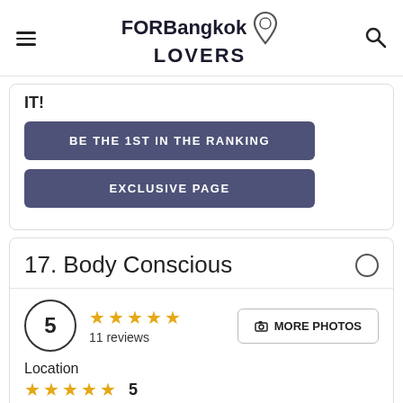FORBangkok LOVERS
IT!
BE THE 1ST IN THE RANKING
EXCLUSIVE PAGE
17. Body Conscious
5 ★★★★★ 11 reviews
MORE PHOTOS
Location
★★★★★ 5
Price